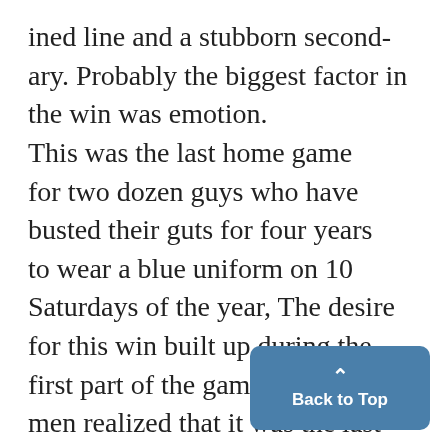ined line and a stubborn secondary. Probably the biggest factor in the win was emotion. This was the last home game for two dozen guys who have busted their guts for four years to wear a blue uniform on 10 Saturdays of the year, The desire for this win built up during the first part of the game as these men realized that it was the last chance to do something for the Blue in Ann Arbor. Mouth-Watering